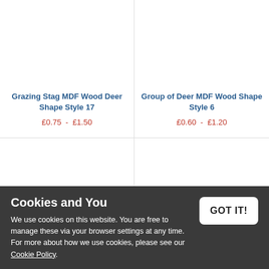Grazing Stag MDF Wood Deer Shape Style 17
£0.75 – £1.50
Group of Deer MDF Wood Shape Style 6
£0.60 – £1.20
Grazing Stag MDF Wood Shape Style 3
Bellowing Stag MDF Wood Deer Shape Style 11
Cookies and You
We use cookies on this website. You are free to manage these via your browser settings at any time. For more about how we use cookies, please see our Cookie Policy.